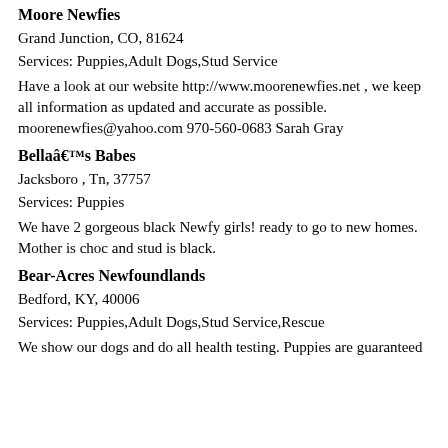Moore Newfies
Grand Junction, CO, 81624
Services: Puppies,Adult Dogs,Stud Service
Have a look at our website http://www.moorenewfies.net , we keep all information as updated and accurate as possible. moorenewfies@yahoo.com 970-560-0683 Sarah Gray
Bellaâ€™s Babes
Jacksboro , Tn, 37757
Services: Puppies
We have 2 gorgeous black Newfy girls! ready to go to new homes. Mother is choc and stud is black.
Bear-Acres Newfoundlands
Bedford, KY, 40006
Services: Puppies,Adult Dogs,Stud Service,Rescue
We show our dogs and do all health testing. Puppies are guaranteed